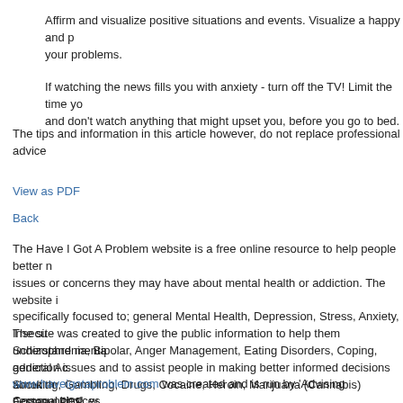Affirm and visualize positive situations and events. Visualize a happy and p... your problems.
If watching the news fills you with anxiety - turn off the TV! Limit the time yo... and don't watch anything that might upset you, before you go to bed.
The tips and information in this article however, do not replace professional advice...
View as PDF
Back
The Have I Got A Problem website is a free online resource to help people better... issues or concerns they may have about mental health or addiction. The website i... specifically focused to; general Mental Health, Depression, Stress, Anxiety, Insecu... Schizophrenia, Bipolar, Anger Management, Eating Disorders, Coping, general Ac... Smoking, Gambling, Drugs, Cocaine, Heroin, Marijuana (Cannabis) Ecstasy, PCP... Ketamine & Crystal Meth.
The site was created to give the public information to help them understand menta... addiction issues and to assist people in making better informed decisions about th... personal choices.
www.haveigotaproblem.com was created and is run by 'Advising Communities', w... registered charity (Charity No. 1061055)